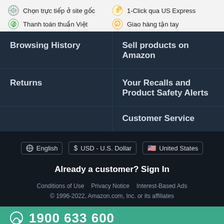Chọn trực tiếp ở site gốc
Thanh toán thuần Việt
1-Click qua US Express
Giao hàng tận tay
Browsing History
Sell products on Amazon
Returns
Your Recalls and Product Safety Alerts
Customer Service
⊕ English   $  USD - U.S. Dollar   🇺🇸 United States
Already a customer? Sign In
Conditions of Use   Privacy Notice   Interest-Based Ads
© 1996-2022, Amazon.com, Inc. or its affiliates
1900 633 600